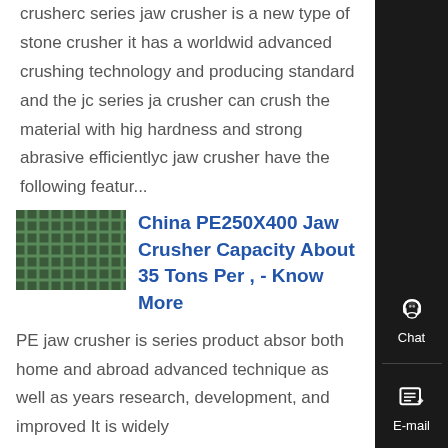crusherc series jaw crusher is a new type of stone crusher it has a worldwide advanced crushing technology and producing standard and the jc series jaw crusher can crush the material with high hardness and strong abrasive efficientlyc jaw crusher have the following featur...
[Figure (photo): Thumbnail image of jaw crusher or mesh/grid structure, green-toned industrial photo]
China PE250X400 Jaw Crusher Capacity About 35 Tons Per , - Know More
PE jaw crusher is series product absorbing both home and abroad advanced technique as well as years research, development, and improved It is widely